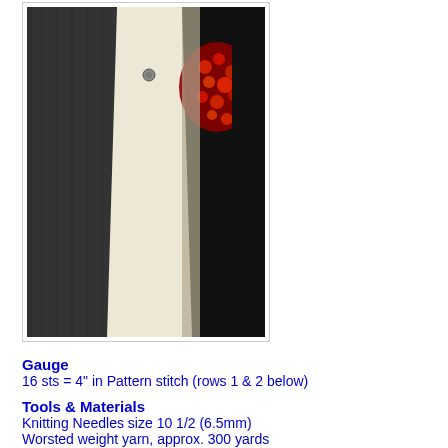[Figure (photo): Photo of a knitted dark charcoal/black vest or garment on a mannequin, with a cream/white knitted piece and red berries in the background]
Gauge
16 sts = 4" in Pattern stitch (rows 1 & 2 below)
Tools & Materials
Knitting Needles size 10 1/2 (6.5mm)
Worsted weight yarn, approx. 300 yards
1 Suspender (Mitten, pacifier) clip
Glue gun
Darning needle